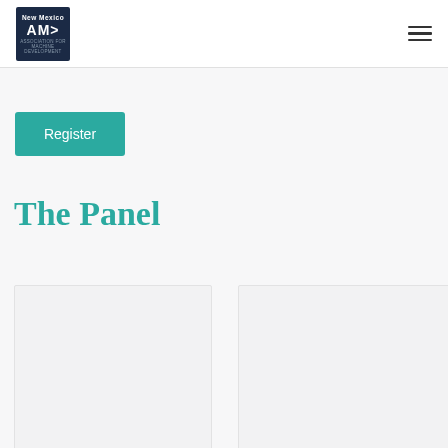New Mexico AMD
Register
The Panel
[Figure (other): Empty card placeholder left]
[Figure (other): Empty card placeholder right]